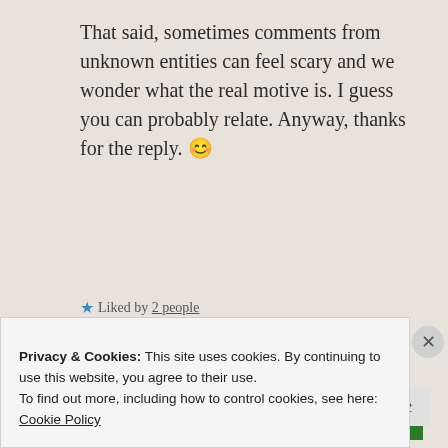That said, sometimes comments from unknown entities can feel scary and we wonder what the real motive is. I guess you can probably relate. Anyway, thanks for the reply. 😊
★ Liked by 2 people
Reply
[Figure (other): Green banner with white bold italic text reading 'plugin']
Privacy & Cookies: This site uses cookies. By continuing to use this website, you agree to their use.
To find out more, including how to control cookies, see here: Cookie Policy